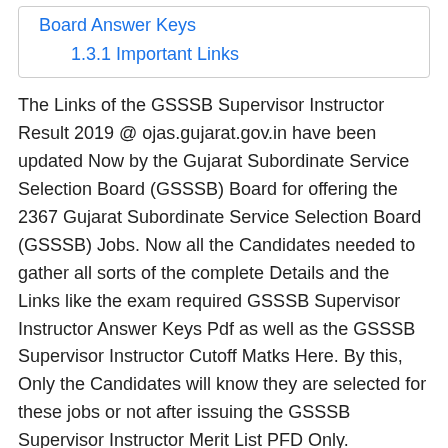Board Answer Keys
1.3.1 Important Links
The Links of the GSSSB Supervisor Instructor Result 2019 @ ojas.gujarat.gov.in have been updated Now by the Gujarat Subordinate Service Selection Board (GSSSB) Board for offering the 2367 Gujarat Subordinate Service Selection Board (GSSSB) Jobs. Now all the Candidates needed to gather all sorts of the complete Details and the Links like the exam required GSSSB Supervisor Instructor Answer Keys Pdf as well as the GSSSB Supervisor Instructor Cutoff Matks Here. By this, Only the Candidates will know they are selected for these jobs or not after issuing the GSSSB Supervisor Instructor Merit List PFD Only.